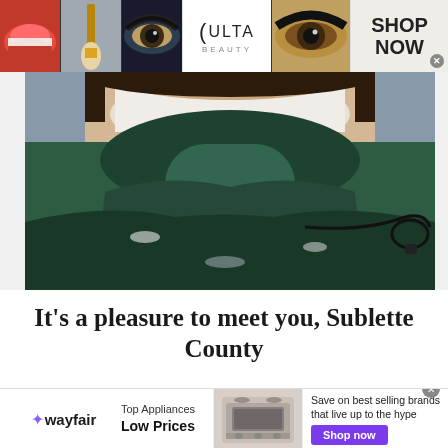[Figure (photo): ULTA Beauty advertisement banner showing makeup images — red lips, makeup brush, dramatic eye makeup, ULTA logo, eye close-up, and 'SHOP NOW' call to action]
[Figure (photo): Close-up photo of a person smiling, wearing a dark green puffy winter jacket with snow on it]
It's a pleasure to meet you, Sublette County
[Figure (photo): Wayfair advertisement banner: 'Top Appliances Low Prices' with an image of a range/oven appliance, and 'Save on best selling brands that live up to the hype' with a purple 'Shop now' button]